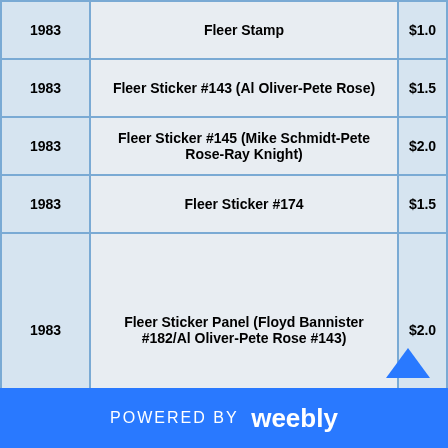| Year | Description | Price |
| --- | --- | --- |
| 1983 | Fleer Stamp | $1.0 |
| 1983 | Fleer Sticker #143 (Al Oliver-Pete Rose) | $1.5 |
| 1983 | Fleer Sticker #145 (Mike Schmidt-Pete Rose-Ray Knight) | $2.0 |
| 1983 | Fleer Sticker #174 | $1.5 |
| 1983 | Fleer Sticker Panel (Floyd Bannister #182/Al Oliver-Pete Rose #143) | $2.0 |
| 1983 | Fleer Sticker Panel (Tom Paciorek #157/Mike Schmidt-Pete Rose-Ray Knight #145) | $2.0 |
POWERED BY weebly